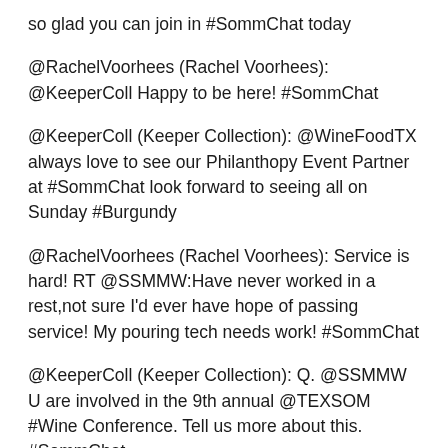so glad you can join in #SommChat today
@RachelVoorhees (Rachel Voorhees): @KeeperColl Happy to be here! #SommChat
@KeeperColl (Keeper Collection): @WineFoodTX always love to see our Philanthopy Event Partner at #SommChat look forward to seeing all on Sunday #Burgundy
@RachelVoorhees (Rachel Voorhees): Service is hard! RT @SSMMW:Have never worked in a rest,not sure I'd ever have hope of passing service! My pouring tech needs work! #SommChat
@KeeperColl (Keeper Collection): Q. @SSMMW U are involved in the 9th annual @TEXSOM #Wine Conference. Tell us more about this. #SommChat